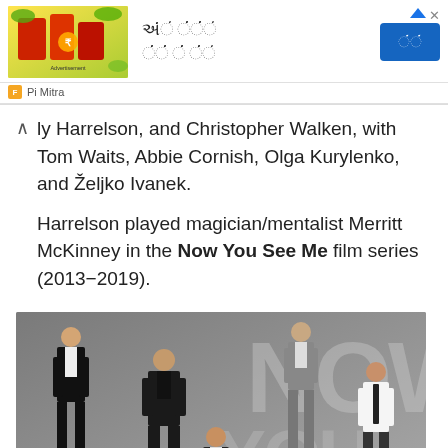[Figure (other): Advertisement banner with Gujarati text, product image, and a blue button. Footer shows Pi Mitra branding.]
ly Harrelson, and Christopher Walken, with Tom Waits, Abbie Cornish, Olga Kurylenko, and Željko Ivanek.
Harrelson played magician/mentalist Merritt McKinney in the Now You See Me film series (2013–2019).
[Figure (photo): Movie poster or promotional image for 'Now You See Me' showing multiple cast members in formal attire against a gray background with large stylized letters.]